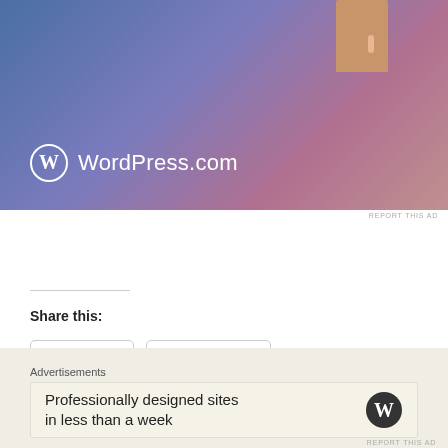[Figure (screenshot): WordPress.com advertisement banner with blue-purple-pink gradient background, door graphic in upper right, and WordPress logo with text]
REPORT THIS AD
Share this:
Twitter  Facebook
Loading...
Advertisements
Professionally designed sites in less than a week